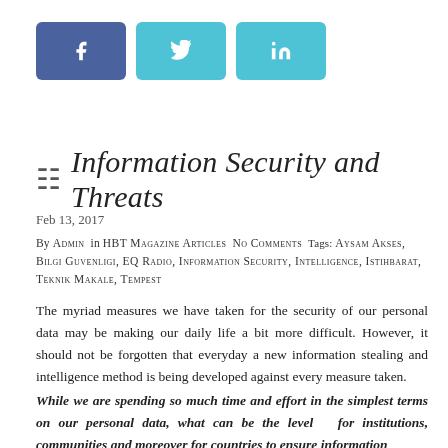[Figure (other): Social media share buttons: Facebook (dark blue), Twitter (teal), LinkedIn (teal)]
Information Security and Threats
Feb 13, 2017
By ADMIN in HBT MAGAZINE ARTICLES No Comments Tags: AYSAM AKSES, BILGI GUVENLIGI, EQ RADIO, INFORMATION SECURITY, INTELLIGENCE, ISTIHBARAT, TEKNIK MAKALE, TEMPEST
The myriad measures we have taken for the security of our personal data may be making our daily life a bit more difficult. However, it should not be forgotten that everyday a new information stealing and intelligence method is being developed against every measure taken.
While we are spending so much time and effort in the simplest terms on our personal data, what can be the level for institutions, communities and moreover for countries to ensure information